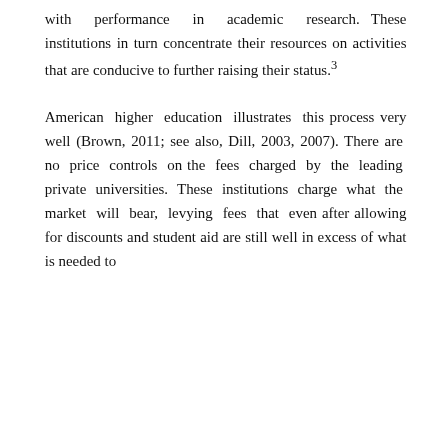with performance in academic research. These institutions in turn concentrate their resources on activities that are conducive to further raising their status.³

American higher education illustrates this process very well (Brown, 2011; see also, Dill, 2003, 2007). There are no price controls on the fees charged by the leading private universities. These institutions charge what the market will bear, levying fees that even after allowing for discounts and student aid are still well in excess of what is needed to